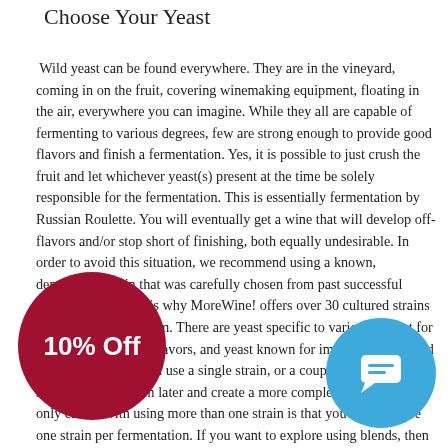Choose Your Yeast
Wild yeast can be found everywhere. They are in the vineyard, coming in on the fruit, covering winemaking equipment, floating in the air, everywhere you can imagine. While they all are capable of fermenting to various degrees, few are strong enough to provide good flavors and finish a fermentation. Yes, it is possible to just crush the fruit and let whichever yeast(s) present at the time be solely responsible for the fermentation. This is essentially fermentation by Russian Roulette. You will eventually get a wine that will develop off-flavors and/or stop short of finishing, both equally undesirable. In order to avoid this situation, we recommend using a known, dependable strain that was carefully chosen from past successful fermentations. This is why MoreWine! offers over 30 cultured strains of yeast to choose from. There are yeast specific to varietals, yeast for emphasizing certain flavors, and yeast known for improving body and structure, etc. You can use a single strain, or a couple of different strains to blend them later and create a more complex final wine. The only caveat with using more than one strain is that you can only use one strain per fermentation. If you want to explore using blends, then you will need more than one fermentation vessel.
[Figure (other): Red circular badge with white bold text reading '10% Off']
[Figure (other): Blue circular chat button icon]